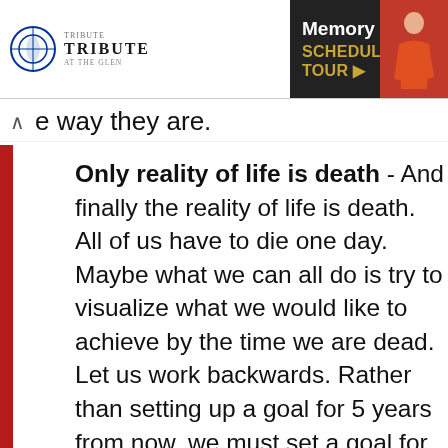[Figure (other): Advertisement banner for Tribute at the Glen - Memory Care. Schedule a Tour.]
e way they are.
Only reality of life is death - And finally the reality of life is death. All of us have to die one day. Maybe what we can all do is try to visualize what we would like to achieve by the time we are dead. Let us work backwards. Rather than setting up a goal for 5 years from now, we must set a goal for what we would like to have accomplished by the time we are dead.
I did ask myself these questions about my life sometime back. One of my targets was to be a good son. I cannot fully achieve it now as I have lost my mother. For her I can never be the good son I wanted to be. I can, however, be a good